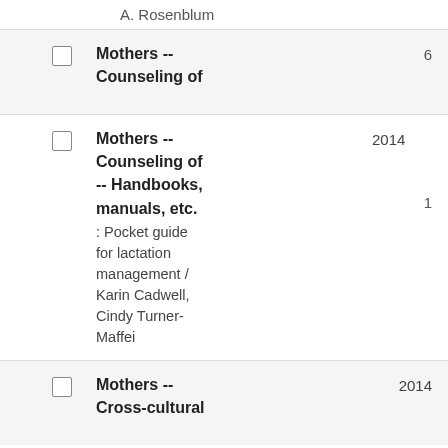A. Rosenblum
Mothers -- Counseling of
Mothers -- Counseling of -- Handbooks, manuals, etc. : Pocket guide for lactation management / Karin Cadwell, Cindy Turner-Maffei
Mothers -- Cross-cultural